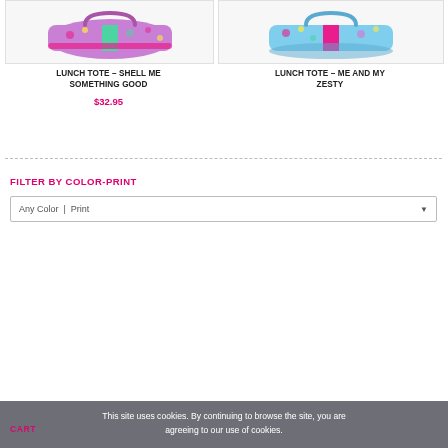[Figure (photo): Lunch tote bag with colorful floral/shell print in pink, green, purple tones]
LUNCH TOTE – SHELL ME SOMETHING GOOD
$32.95
[Figure (photo): Lunch tote bag with colorful floral pattern in blue, pink, purple tones]
LUNCH TOTE – ME AND MY ZESTY
FILTER BY COLOR-PRINT
Any Color | Print
This site uses cookies. By continuing to browse the site, you are agreeing to our use of cookies.
CART